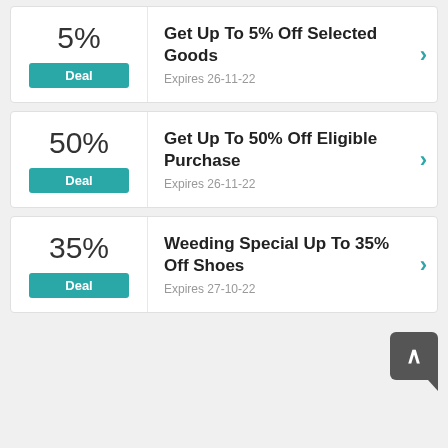5%
Deal
Get Up To 5% Off Selected Goods
Expires 26-11-22
50%
Deal
Get Up To 50% Off Eligible Purchase
Expires 26-11-22
35%
Deal
Weeding Special Up To 35% Off Shoes
Expires 27-10-22